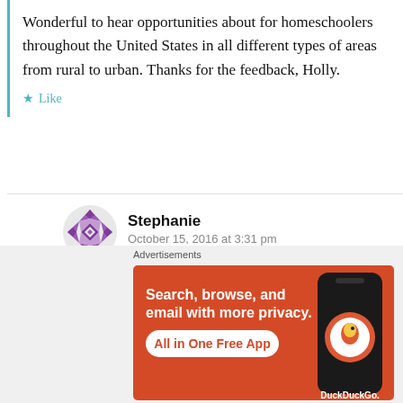Wonderful to hear opportunities about for homeschoolers throughout the United States in all different types of areas from rural to urban. Thanks for the feedback, Holly.
Like
Stephanie
October 15, 2016 at 3:31 pm
I'm about to begin homeschooling in rural Montana, and it's definitely more challenging
Advertisements
[Figure (screenshot): DuckDuckGo advertisement banner: orange background with text 'Search, browse, and email with more privacy. All in One Free App' and a phone showing DuckDuckGo logo]